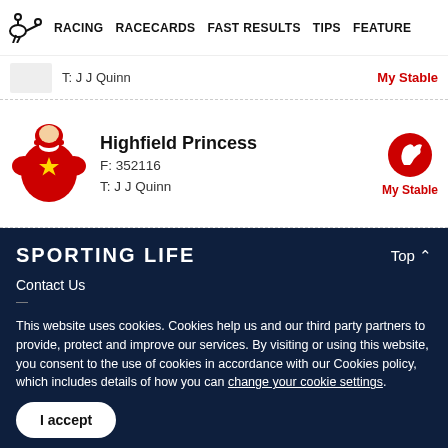RACING   RACECARDS   FAST RESULTS   TIPS   FEATURE
T: J J Quinn   My Stable
Highfield Princess
F: 352116
T: J J Quinn
SPORTING LIFE
Contact Us
This website uses cookies. Cookies help us and our third party partners to provide, protect and improve our services. By visiting or using this website, you consent to the use of cookies in accordance with our Cookies policy, which includes details of how you can change your cookie settings.
I accept